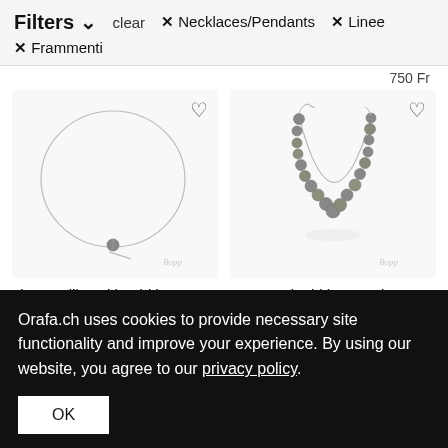Filters ∨   clear   ✕ Necklaces/Pendants   ✕ Linee   ✕ Frammenti
750 Fr
[Figure (photo): Linee collier necklace with a single tahitian pearl on a thin wire, circular shape, on white background. Brand watermark: Bopp]
[Figure (photo): Engraved tahitian pearls necklace with multiple grey pearls connected by silver chain links, on white background. Brand watermark: Bopp]
Linee collier with tahitian...
3'490 Fr
Engraved tahitian pearls c...
2'790 Fr
Orafa.ch uses cookies to provide necessary site functionality and improve your experience. By using our website, you agree to our privacy policy.
OK